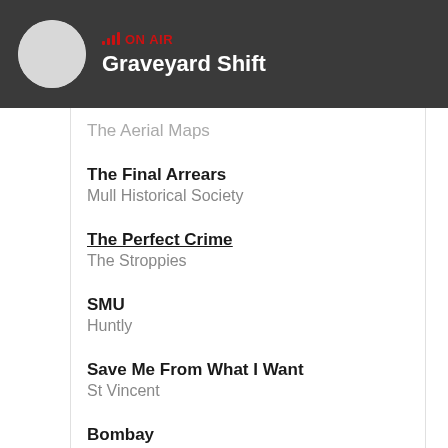ON AIR — Graveyard Shift
The Aerial Maps
The Final Arrears — Mull Historical Society
The Perfect Crime — The Stroppies
SMU — Huntly
Save Me From What I Want — St Vincent
Bombay — El Guincho
Is That Enough? — Yo La Tengo
Star of the Show (partial)